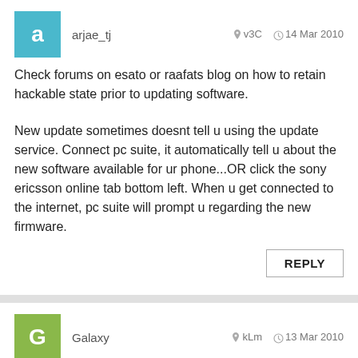arjae_tj | v3C | 14 Mar 2010
Check forums on esato or raafats blog on how to retain hackable state prior to updating software.
New update sometimes doesnt tell u using the update service. Connect pc suite, it automatically tell u about the new software available for ur phone...OR click the sony ericsson online tab bottom left. When u get connected to the internet, pc suite will prompt u regarding the new firmware.
REPLY
Galaxy | kLm | 13 Mar 2010
u guys r so lucky then , after installing the new update, my phone is pretty messed up , i now have two facebook short icons on the organiser folder click one , no responds, click the other one , brings me to SUDOKU , takes way too long to load the organiser's folder, and swapping landscape mode takes longer then before, no google